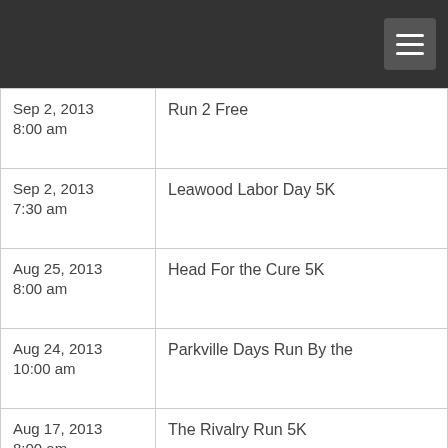| Date | Event |
| --- | --- |
| Sep 2, 2013
8:00 am | Run 2 Free |
| Sep 2, 2013
7:30 am | Leawood Labor Day 5K |
| Aug 25, 2013
8:00 am | Head For the Cure 5K |
| Aug 24, 2013
10:00 am | Parkville Days Run By the |
| Aug 17, 2013
8:00 am | The Rivalry Run 5K |